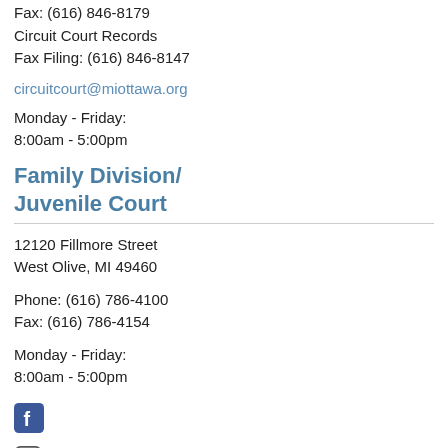Fax: (616) 846-8179
Circuit Court Records
Fax Filing: (616) 846-8147
circuitcourt@miottawa.org
Monday - Friday:
8:00am - 5:00pm
Family Division/
Juvenile Court
12120 Fillmore Street
West Olive, MI 49460
Phone: (616) 786-4100
Fax: (616) 786-4154
Monday - Friday:
8:00am - 5:00pm
[Figure (logo): Facebook icon - rounded square with white letter f on blue background]
[Figure (logo): Instagram icon - rounded square outline logo]